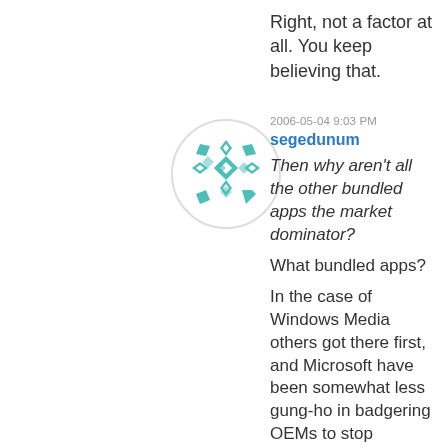Right, not a factor at all. You keep believing that.
[Figure (illustration): Circular avatar with teal/turquoise snowflake geometric pattern design on white background with light gray circle border.]
2006-05-04 9:03 PM
segedunum
Then why aren't all the other bundled apps the market dominator?
What bundled apps?
In the case of Windows Media others got there first, and Microsoft have been somewhat less gung-ho in badgering OEMs to stop installing Real Player for various reasons. However, you can't pretend that